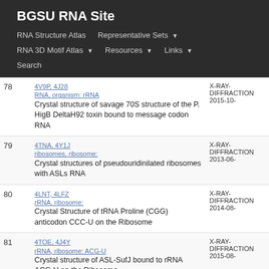BGSU RNA Site
RNA Structure Atlas | Representative Sets | RNA 3D Motif Atlas | Resources | Links | Search
| # | Description | Meta |
| --- | --- | --- |
| 78 | 4V9P, 4J28 | Crystal structure of savage 70S structure of the P. RNA, organism: HigB DeltaH92 toxin bound to message, rRNA: codon RNA | X-RAY-DIFFRACTION 2015-10- |
| 79 | 4TNA, 4Y1J | Crystal structures of pseudouridinilated ribosomes, ribosome: with ASLs RNA | X-RAY-DIFFRACTION 2013-06- |
| 80 | 4LNT, 4LFZ | Crystal Structure of tRNA Proline (CGG) rRNA, ribosome: anticodon CCC-U on the Ribosome | X-RAY-DIFFRACTION 2014-08- |
| 81 | 4TOE, 4J4Y | Crystal structure of ASL-SufJ bound to rRNA, ribosome: ACG-U on the Ribosome | X-RAY-DIFFRACTION 2015-08- |